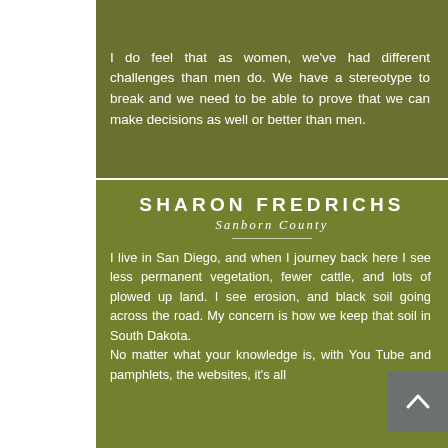I do feel that as women, we've had different challenges than men do. We have a stereotype to break and we need to be able to prove that we can make decisions as well or better than men.
SHARON FREDRICHS
Sanborn County
I live in San Diego, and when I journey back here I see less permanent vegetation, fewer cattle, and lots of plowed up land. I see erosion, and black soil going across the road. My concern is how we keep that soil in South Dakota. No matter what your knowledge is, with You Tube and pamphlets, the websites, it's all